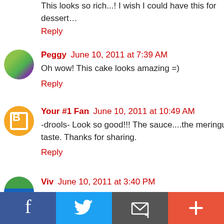This looks so rich...! I wish I could have this for dessert...
Reply
Peggy  June 10, 2011 at 7:39 AM
Oh wow! This cake looks amazing =)
Reply
Your #1 Fan  June 10, 2011 at 10:49 AM
-drools- Look so good!!! The sauce....the meringue...the taste. Thanks for sharing.
Reply
Viv  June 10, 2011 at 3:40 PM
sticky, gooey, chocolatey, crunchy....what more can you